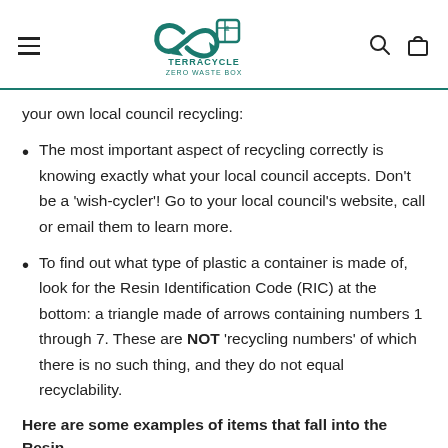TERRACYCLE ZERO WASTE BOX
your own local council recycling:
The most important aspect of recycling correctly is knowing exactly what your local council accepts. Don't be a 'wish-cycler'! Go to your local council's website, call or email them to learn more.
To find out what type of plastic a container is made of, look for the Resin Identification Code (RIC) at the bottom: a triangle made of arrows containing numbers 1 through 7. These are NOT 'recycling numbers' of which there is no such thing, and they do not equal recyclability.
Here are some examples of items that fall into the Resin